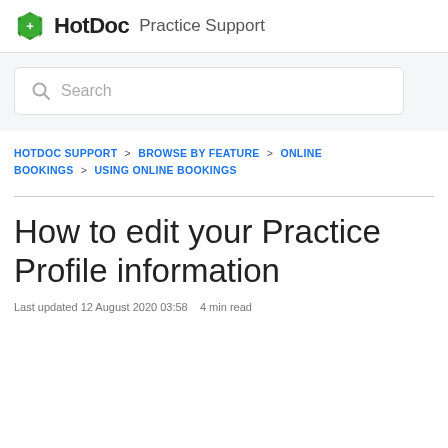HotDoc Practice Support
[Figure (logo): HotDoc logo: green hexagon badge with white plus sign, followed by bold text 'HotDoc' and regular text 'Practice Support']
Search
HOTDOC SUPPORT > BROWSE BY FEATURE > ONLINE BOOKINGS > USING ONLINE BOOKINGS
How to edit your Practice Profile information